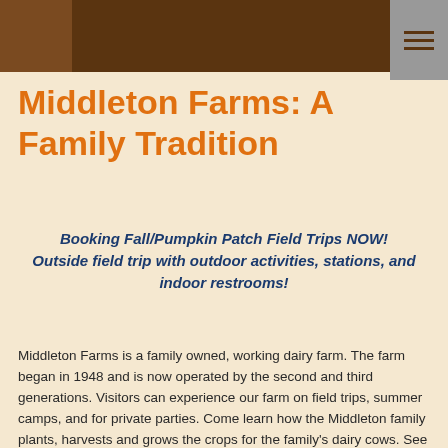Middleton Farms: A Family Tradition
Booking Fall/Pumpkin Patch Field Trips NOW! Outside field trip with outdoor activities, stations, and indoor restrooms!
Middleton Farms is a family owned, working dairy farm. The farm began in 1948 and is now operated by the second and third generations. Visitors can experience our farm on field trips, summer camps, and for private parties. Come learn how the Middleton family plants, harvests and grows the crops for the family's dairy cows. See a live cow-milking demonstration and learn how milking has changed over the years. This fall will be our sixth year to invite guests to our Pumpkin Patch. We offer hands-on, educational tours where students learn about the dairy cow, the routines on the dairy farm, and how dairy is an important part of our diet. During the fall, students tour a real pumpkin patch and see a variety of pumpkins. Our spring field trips include a focus on how seeds